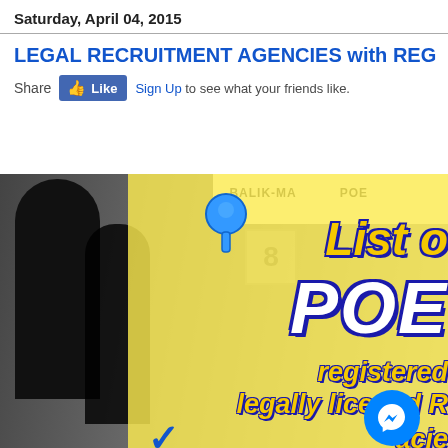Saturday, April 04, 2015
LEGAL RECRUITMENT AGENCIES with REG
Share Like Sign Up to see what your friends like.
[Figure (photo): Photo of people at a POEA (Philippine Overseas Employment Administration) office with a yellow overlay graphic showing text: 'List of POEA registered legally licensed agencies'. A Messenger chat button is visible in the lower right corner.]